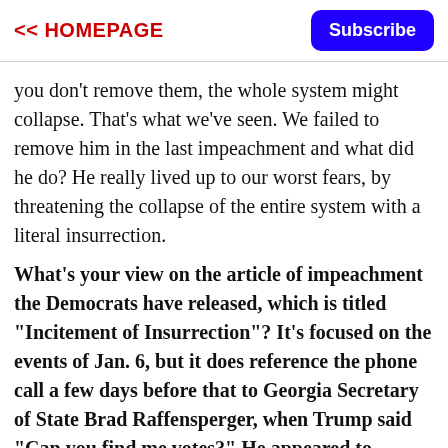<< HOMEPAGE   Subscribe
you don't remove them, the whole system might collapse. That's what we've seen. We failed to remove him in the last impeachment and what did he do? He really lived up to our worst fears, by threatening the collapse of the entire system with a literal insurrection.
What's your view on the article of impeachment the Democrats have released, which is titled "Incitement of Insurrection"? It's focused on the events of Jan. 6, but it does reference the phone call a few days before that to Georgia Secretary of State Brad Raffensperger, when Trump said "Can you find me votes?" He appeared to threaten, at least implicitly, criminal prosecution if Raffensperger